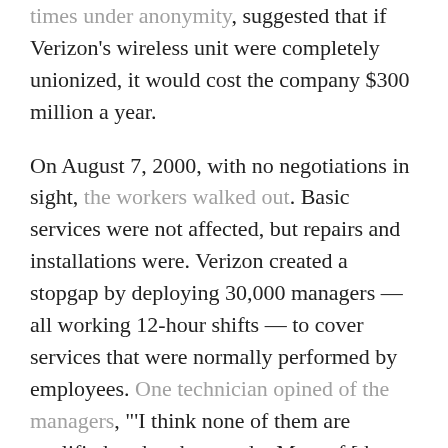times under anonymity, suggested that if Verizon's wireless unit were completely unionized, it would cost the company $300 million a year.
On August 7, 2000, with no negotiations in sight, the workers walked out. Basic services were not affected, but repairs and installations were. Verizon created a stopgap by deploying 30,000 managers — all working 12-hour shifts — to cover services that were normally performed by employees. One technician opined of the managers, "'I think none of them are qualified to do what we do. Most of [the managers] were educated in college, but they're not technically inclined."
The union members were dressed in red, picketing in solidarity. One customer service reporter told the New York Times that she was "tired of being treated